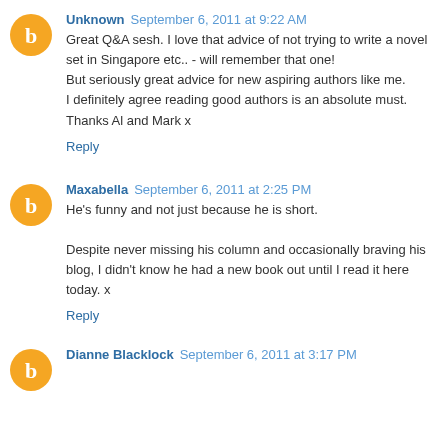Unknown  September 6, 2011 at 9:22 AM
Great Q&A sesh. I love that advice of not trying to write a novel set in Singapore etc.. - will remember that one!
But seriously great advice for new aspiring authors like me.
I definitely agree reading good authors is an absolute must.
Thanks Al and Mark x
Reply
Maxabella  September 6, 2011 at 2:25 PM
He's funny and not just because he is short.

Despite never missing his column and occasionally braving his blog, I didn't know he had a new book out until I read it here today. x
Reply
Dianne Blacklock  September 6, 2011 at 3:17 PM